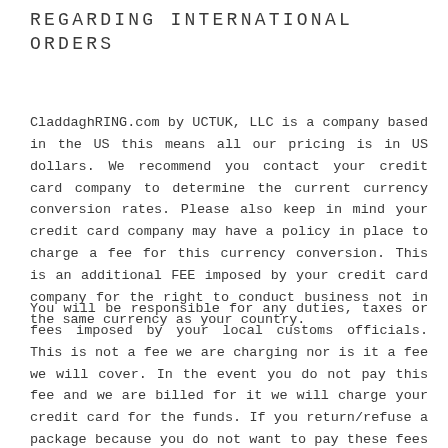REGARDING INTERNATIONAL ORDERS
CladdaghRING.com by UCTUK, LLC is a company based in the US this means all our pricing is in US dollars. We recommend you contact your credit card company to determine the current currency conversion rates. Please also keep in mind your credit card company may have a policy in place to charge a fee for this currency conversion. This is an additional FEE imposed by your credit card company for the right to conduct business not in the same currency as your country.
You will be responsible for any duties, taxes or fees imposed by your local customs officials. This is not a fee we are charging nor is it a fee we will cover. In the event you do not pay this fee and we are billed for it we will charge your credit card for the funds. If you return/refuse a package because you do not want to pay these fees you may still be responsible for them. It is your responsibility to